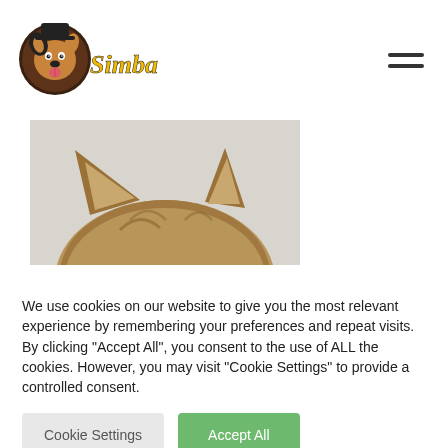[Figure (logo): Villa Simba logo with cartoon dog head in circular badge and stylized yellow/black text]
[Figure (photo): Close-up photo showing the top of a cat or dog's head with pointy ears against a light background]
We use cookies on our website to give you the most relevant experience by remembering your preferences and repeat visits. By clicking "Accept All", you consent to the use of ALL the cookies. However, you may visit "Cookie Settings" to provide a controlled consent.